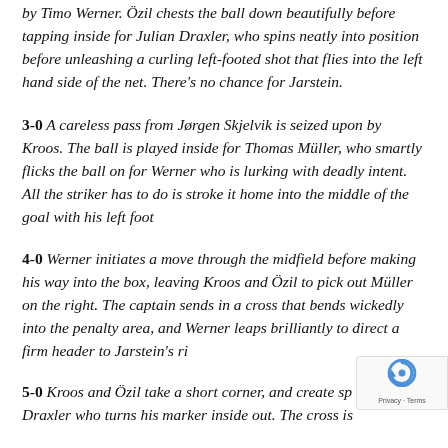by Timo Werner. Özil chests the ball down beautifully before tapping inside for Julian Draxler, who spins neatly into position before unleashing a curling left-footed shot that flies into the left hand side of the net. There's no chance for Jarstein.
3-0 A careless pass from Jørgen Skjelvik is seized upon by Kroos. The ball is played inside for Thomas Müller, who smartly flicks the ball on for Werner who is lurking with deadly intent. All the striker has to do is stroke it home into the middle of the goal with his left foot
4-0 Werner initiates a move through the midfield before making his way into the box, leaving Kroos and Özil to pick out Müller on the right. The captain sends in a cross that bends wickedly into the penalty area, and Werner leaps brilliantly to direct a firm header to Jarstein's right.
5-0 Kroos and Özil take a short corner, and create space for Draxler who turns his marker inside out. The cross is